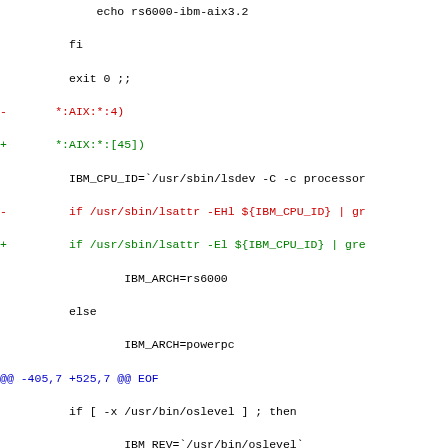Diff/patch code snippet showing shell script lines for IBM AIX architecture detection, with removed lines in red and added lines in green, and diff hunk headers in blue.